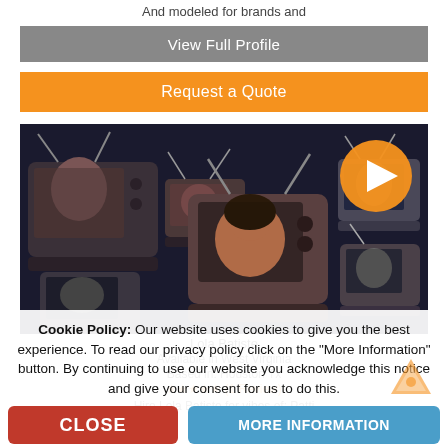And modeled for brands and
View Full Profile
Request a Quote
[Figure (photo): Collage of vintage retro television sets arranged together, some showing black-and-white images, with an orange play button circle overlaid in the top right corner. Person visible on center TV screen.]
Lola Batiste
Available in West Virginia
Based in: Houston Tx
★★★★★ (1 Review)
Hire Lola Batiste for vibes of: Patti
Cookie Policy: Our website uses cookies to give you the best experience. To read our privacy policy click on the "More Information" button. By continuing to use our website you acknowledge this notice and give your consent for us to do this.
CLOSE
MORE INFORMATION